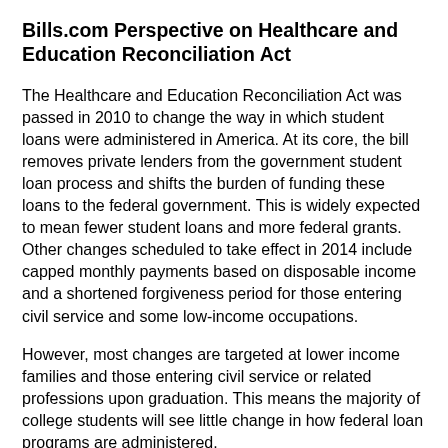Bills.com Perspective on Healthcare and Education Reconciliation Act
The Healthcare and Education Reconciliation Act was passed in 2010 to change the way in which student loans were administered in America. At its core, the bill removes private lenders from the government student loan process and shifts the burden of funding these loans to the federal government. This is widely expected to mean fewer student loans and more federal grants. Other changes scheduled to take effect in 2014 include capped monthly payments based on disposable income and a shortened forgiveness period for those entering civil service and some low-income occupations.
However, most changes are targeted at lower income families and those entering civil service or related professions upon graduation. This means the majority of college students will see little change in how federal loan programs are administered.